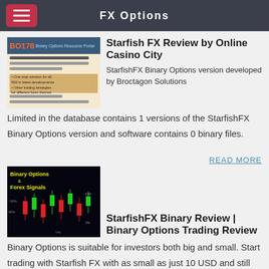FX Options
Starfish FX Review by Online Casino City
[Figure (screenshot): Thumbnail image showing a financial website screenshot with charts and text]
StarfishFX Binary Options version developed by Broctagon Solutions Limited in the database contains 1 versions of the StarfishFX Binary Options version and software contains 0 binary files.
READ MORE
[Figure (screenshot): Binary Options & Forex Signals candlestick chart on dark background]
StarfishFX Binary Review | Binary Options Trading Review
Binary Options is suitable for investors both big and small. Start trading with Starfish FX with as small as just 10 USD and still earn up to 82% per